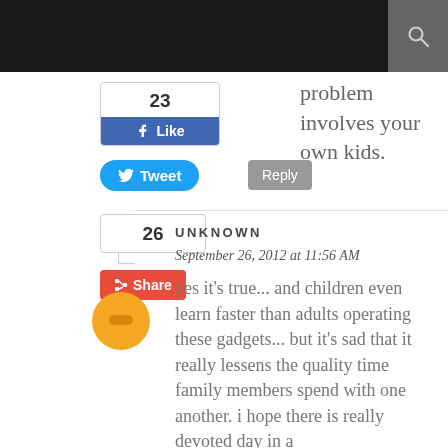problem involves your own kids.
[Figure (screenshot): Facebook Like button widget showing 23 likes]
[Figure (screenshot): Twitter Tweet button]
Reply
[Figure (screenshot): Facebook share widget showing count 26]
[Figure (screenshot): Red Share button with plus icon]
[Figure (illustration): User avatar circle in orange/yellow color]
UNKNOWN
September 26, 2012 at 11:56 AM
yes it's true... and children even learn faster than adults operating these gadgets... but it's sad that it really lessens the quality time family members spend with one another. i hope there is really devoted day in a